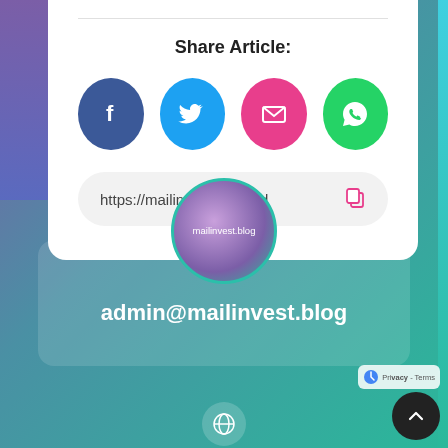Share Article:
[Figure (infographic): Four social sharing buttons: Facebook (blue circle with f), Twitter (cyan circle with bird), Email (pink circle with envelope), WhatsApp (green circle with phone)]
https://mailinvest.blog/ind
[Figure (photo): Circular avatar logo with text 'mailinvest.blog' on a purple-to-teal gradient background]
admin@mailinvest.blog